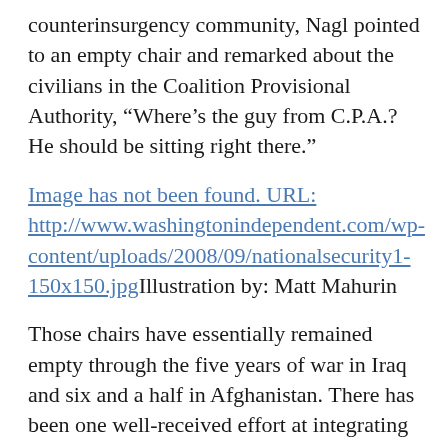counterinsurgency community, Nagl pointed to an empty chair and remarked about the civilians in the Coalition Provisional Authority, “Where’s the guy from C.P.A.? He should be sitting right there.”
[Figure (other): Image has not been found. URL: http://www.washingtonindependent.com/wp-content/uploads/2008/09/nationalsecurity1-150x150.jpg Illustration by: Matt Mahurin]
Those chairs have essentially remained empty through the five years of war in Iraq and six and a half in Afghanistan. There has been one well-received effort at integrating civilians with the military for counterinsurgency: the Provincial Reconstruction Teams, which bring together soldiers, diplomats, aid workers and other experts to provide on-the-ground